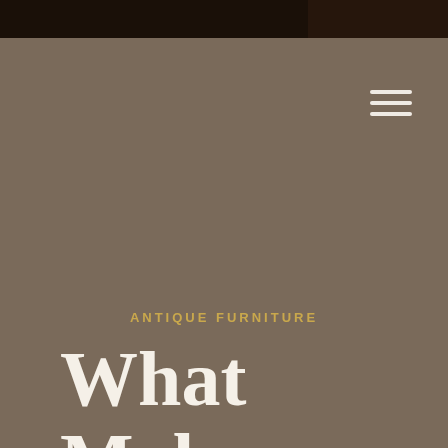[Figure (photo): Dark brown top bar with wood/furniture photo on the right side]
[Figure (illustration): Hamburger menu icon with three horizontal white lines on brown background]
ANTIQUE FURNITURE
What Makes An Antiq...